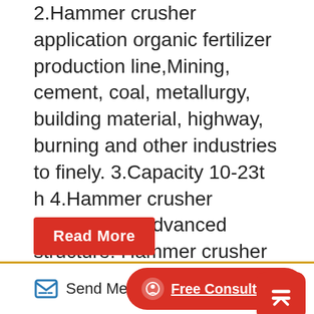2.Hammer crusher application organic fertilizer production line,Mining, cement, coal, metallurgy, building material, highway, burning and other industries to finely. 3.Capacity 10-23t h 4.Hammer crusher advantages Advanced structure. Hammer crusher bearing box are all made of steel, each axle box.
Read More
[Figure (photo): Industrial hammer crusher machine with multiple large red and black wheels/pulleys mounted on white metal frames in a factory setting.]
Send Message
Free Consultation